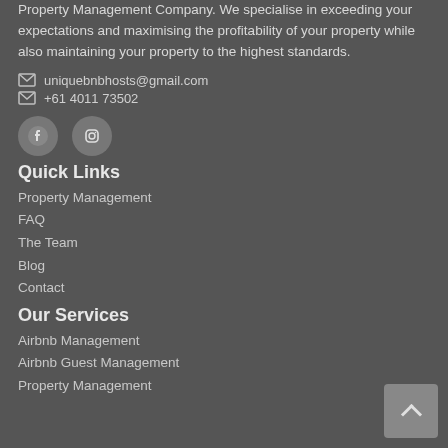Property Management Company. We specialise in exceeding your expectations and maximising the profitability of your property while also maintaining your property to the highest standards.
uniquebnbhosts@gmail.com
+61 4011 73502
[Figure (logo): Facebook and Instagram social media icons]
Quick Links
Property Management
FAQ
The Team
Blog
Contact
Our Services
Airbnb Management
Airbnb Guest Management
Property Management